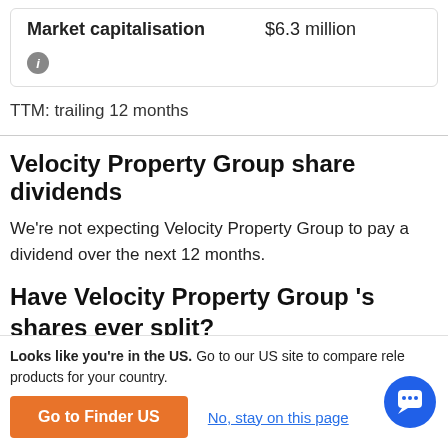| Market capitalisation |  |
| --- | --- |
| Market capitalisation | $6.3 million |
TTM: trailing 12 months
Velocity Property Group share dividends
We're not expecting Velocity Property Group to pay a dividend over the next 12 months.
Have Velocity Property Group 's shares ever split?
Velocity Property Group 's shares were split on a 1:35 basis
Looks like you're in the US. Go to our US site to compare rele products for your country.
Go to Finder US
No, stay on this page